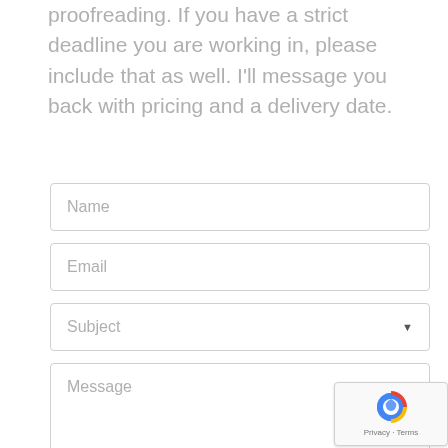proofreading. If you have a strict deadline you are working in, please include that as well. I'll message you back with pricing and a delivery date.
Name
Email
Subject
Message
Privacy · Terms